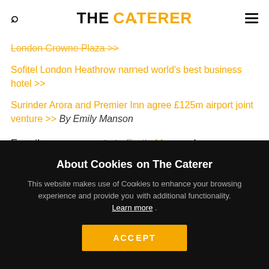THE CATERER
London Crowne Plaza >>
Sofitel London Heathrow named world's best business hotel >>
Surinder Arora and Premier Inn agree £125m airport joint venture >> By Emily Manson
E-mail your comments to Emily Manson here.
About Cookies on The Caterer
This website makes use of Cookies to enhance your browsing experience and provide you with additional functionality. Learn more .
ACCEPT